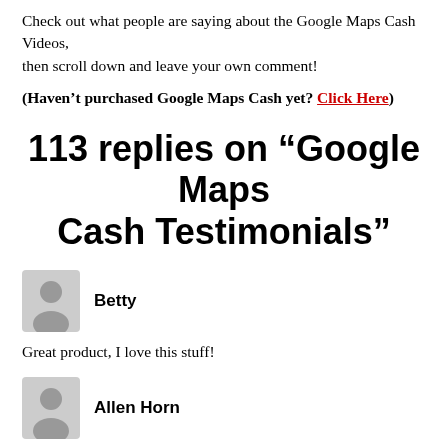Check out what people are saying about the Google Maps Cash Videos, then scroll down and leave your own comment!
(Haven't purchased Google Maps Cash yet? Click Here)
113 replies on “Google Maps Cash Testimonials”
Betty
Great product, I love this stuff!
Allen Horn